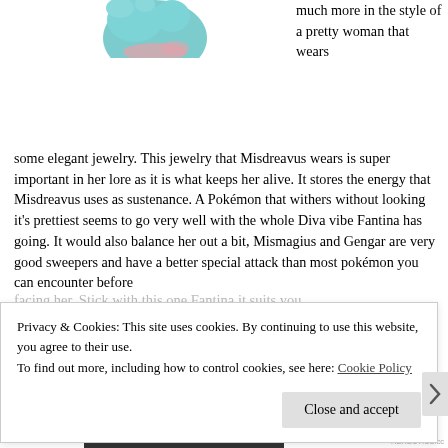[Figure (illustration): Partial view of a Misdreavus Pokemon illustration - teal/blue ghost-like creature with pink accents, cropped at top of page]
much more in the style of a pretty woman that wears some elegant jewelry. This jewelry that Misdreavus wears is super important in her lore as it is what keeps her alive. It stores the energy that Misdreavus uses as sustenance. A Pokémon that withers without looking it's prettiest seems to go very well with the whole Diva vibe Fantina has going. It would also balance her out a bit, Mismagius and Gengar are very good sweepers and have a better special attack than most pokémon you can encounter before facing her. Stick with this one Fantina it suits you
Privacy & Cookies: This site uses cookies. By continuing to use this website, you agree to their use.
To find out more, including how to control cookies, see here: Cookie Policy
Close and accept